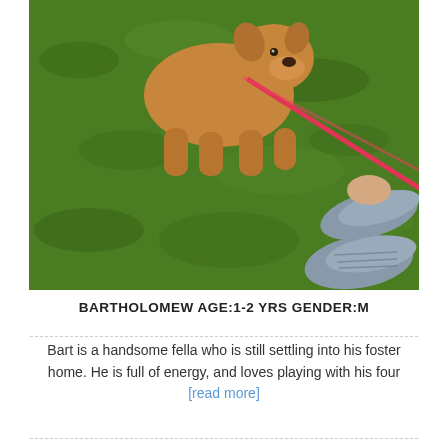[Figure (photo): A tan/brown dog on green grass, held by a red/pink leash, with a person's gray shoes visible at the bottom right corner. The photo is taken from above.]
BARTHOLOMEW AGE:1-2 YRS GENDER:M
Bart is a handsome fella who is still settling into his foster home. He is full of energy, and loves playing with his four [read more]